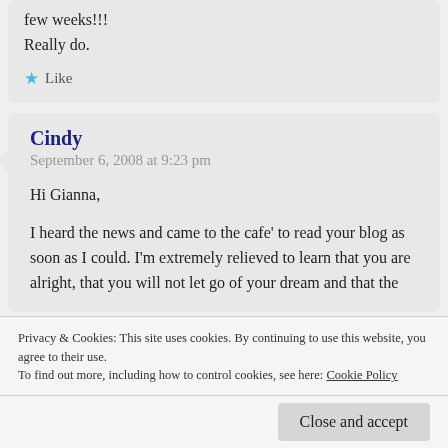few weeks!!!
Really do.
Like
Cindy
September 6, 2008 at 9:23 pm
Hi Gianna,
I heard the news and came to the cafe' to read your blog as soon as I could. I'm extremely relieved to learn that you are alright, that you will not let go of your dream and that the
Privacy & Cookies: This site uses cookies. By continuing to use this website, you agree to their use.
To find out more, including how to control cookies, see here: Cookie Policy
Close and accept